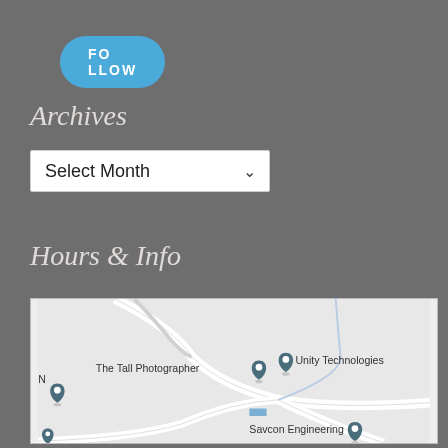FOLLOW
Archives
Select Month
Hours & Info
[Figure (map): Google-style map showing location pins for The Tall Photographer, Unity Technologies, Savcon Engineering, and another unlabeled pin to the left. Roads and paths visible on a light grey map background.]